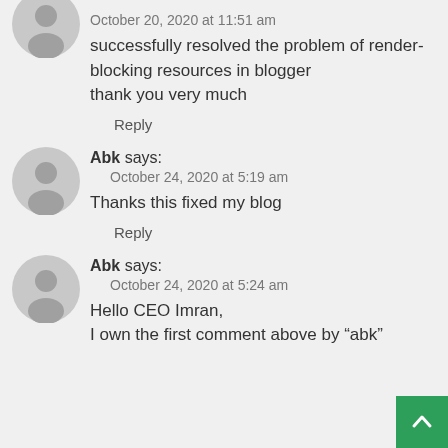October 20, 2020 at 11:51 am
successfully resolved the problem of render-blocking resources in blogger
thank you very much
Reply
Abk says:
October 24, 2020 at 5:19 am
Thanks this fixed my blog
Reply
Abk says:
October 24, 2020 at 5:24 am
Hello CEO Imran,
I own the first comment above by “abk”